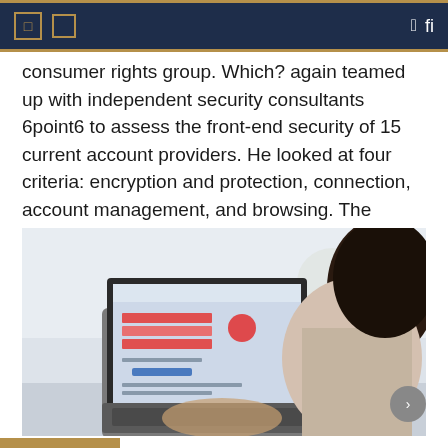consumer rights group. Which? again teamed up with independent security consultants 6point6 to assess the front-end security of 15 current account providers. He looked at four criteria: encryption and protection, connection, account management, and browsing. The report [...]
[Figure (photo): Woman viewed from behind, sitting and using a laptop that displays a banking or account website with red highlighted form fields.]